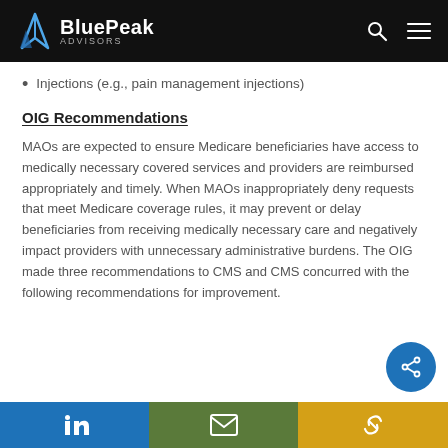BluePeak Advisors
Injections (e.g., pain management injections)
OIG Recommendations
MAOs are expected to ensure Medicare beneficiaries have access to medically necessary covered services and providers are reimbursed appropriately and timely. When MAOs inappropriately deny requests that meet Medicare coverage rules, it may prevent or delay beneficiaries from receiving medically necessary care and negatively impact providers with unnecessary administrative burdens. The OIG made three recommendations to CMS and CMS concurred with the following recommendations for improvement.
LinkedIn | Email | Link